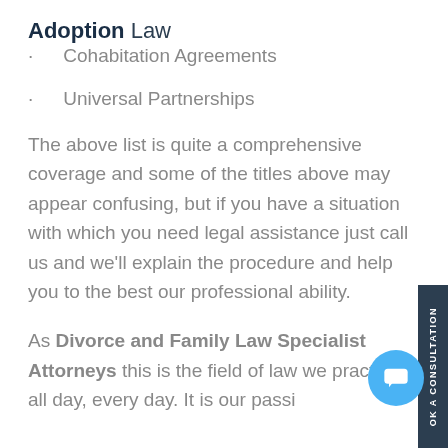Adoption Law
Cohabitation Agreements
Universal Partnerships
The above list is quite a comprehensive coverage and some of the titles above may appear confusing, but if you have a situation with which you need legal assistance just call us and we'll explain the procedure and help you to the best our professional ability.
As Divorce and Family Law Specialist Attorneys this is the field of law we practice all day, every day. It is our passi…